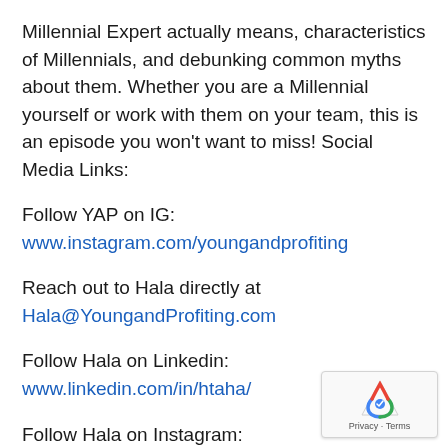Millennial Expert actually means, characteristics of Millennials, and debunking common myths about them. Whether you are a Millennial yourself or work with them on your team, this is an episode you won't want to miss! Social Media Links:
Follow YAP on IG:
www.instagram.com/youngandprofiting
Reach out to Hala directly at
Hala@YoungandProfiting.com
Follow Hala on Linkedin:
www.linkedin.com/in/htaha/
Follow Hala on Instagram: